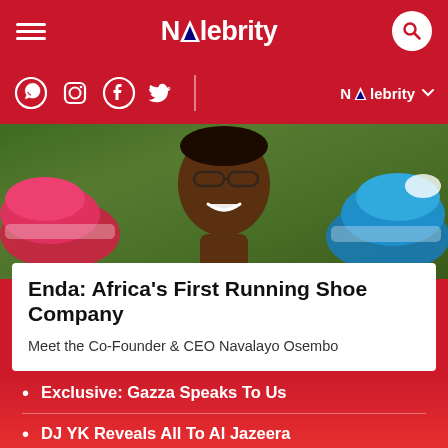NAlebrity
[Figure (photo): Woman smiling holding a pink/red running shoe on the left and a blue running shoe on the right, with green foliage in the background.]
Enda: Africa's First Running Shoe Company
Meet the Co-Founder & CEO Navalayo Osembo
Exclusive: Gazza Speaks To Us
DJ YK Reveals All To Al Jazeera